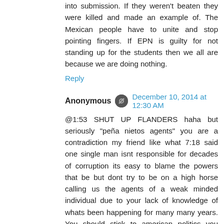into submission. If they weren't beaten they were killed and made an example of. The Mexican people have to unite and stop pointing fingers. If EPN is guilty for not standing up for the students then we all are because we are doing nothing.
Reply
Anonymous  December 10, 2014 at 12:30 AM
@1:53 SHUT UP FLANDERS haha but seriously "peña nietos agents" you are a contradiction my friend like what 7:18 said one single man isnt responsible for decades of corruption its easy to blame the powers that be but dont try to be on a high horse calling us the agents of a weak minded individual due to your lack of knowledge of whats been happening for many many years. You should stick to american politics you wanna troll take it to facebook you probably go on liberal blogs saying the same for obamas "agents". Do your homework and come back with a little more intelligence before you poison this blog with your theories. Face reality pendejo these tragedies ARE NOT NEW.